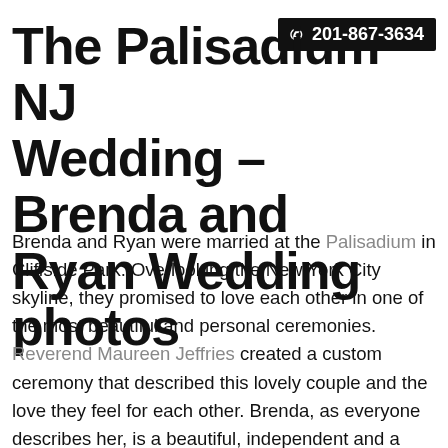The Palisadium NJ Wedding – Brenda and Ryan Wedding photos
Brenda and Ryan were married at the Palisadium in Cliffside Park. Overlooking the New York City skyline, they promised to love each other in one of the most beautiful and personal ceremonies. Reverend Maureen Jeffries created a custom ceremony that described this lovely couple and the love they feel for each other. Brenda, as everyone describes her, is a beautiful, independent and a strong woman, and Ryan is head over heels for her. Not only is she strong, but she is a great cook, so they decided to spice up their wedding with a recipe for a perfect marriage. A dash of oregano, a little bit of